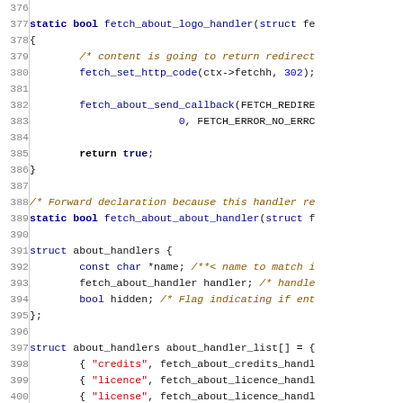[Figure (screenshot): Source code listing in C showing lines 376-406, including fetch_about_logo_handler function, struct about_handlers definition, and about_handler_list array initialization with string entries like 'credits', 'licence', 'license', 'config', 'Choices', 'testament', 'about', 'logo', 'blank'.]